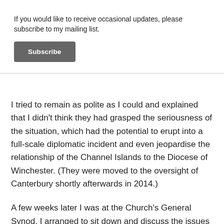If you would like to receive occasional updates, please subscribe to my mailing list.
Subscribe
I tried to remain as polite as I could and explained that I didn't think they had grasped the seriousness of the situation, which had the potential to erupt into a full-scale diplomatic incident and even jeopardise the relationship of the Channel Islands to the Diocese of Winchester. (They were moved to the oversight of Canterbury shortly afterwards in 2014.)
A few weeks later I was at the Church's General Synod. I arranged to sit down and discuss the issues with Tim